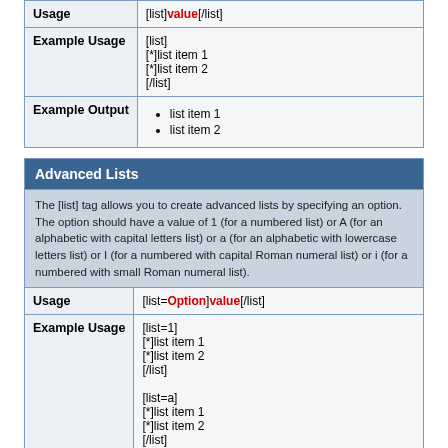|  |  |
| --- | --- |
| Usage | [list]value[/list] |
| Example Usage | [list]
[*]list item 1
[*]list item 2
[/list] |
| Example Output | • list item 1
• list item 2 |
Advanced Lists
The [list] tag allows you to create advanced lists by specifying an option. The option should have a value of 1 (for a numbered list) or A (for an alphabetic with capital letters list) or a (for an alphabetic with lowercase letters list) or I (for a numbered with capital Roman numeral list) or i (for a numbered with small Roman numeral list).
|  |  |
| --- | --- |
| Usage | [list=Option]value[/list] |
| Example Usage | [list=1]
[*]list item 1
[*]list item 2
[/list]

[list=a]
[*]list item 1
[*]list item 2
[/list] |